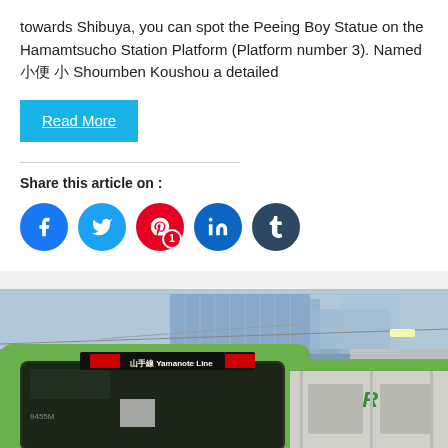towards Shibuya, you can spot the Peeing Boy Statue on the Hamamtsucho Station Platform (Platform number 3). Named 小便 小 Shoumben Koushou a detailed
Read More
Share this article on :
[Figure (illustration): Social sharing icons: Facebook (blue circle), Twitter (light blue circle), Pinterest (red circle with badge '1'), LinkedIn (blue circle), Tumblr (dark blue circle)]
[Figure (photo): A green and grey JR Yamanote Line train at a station platform. The front of the train shows the red LED destination display reading 山手線 Yamanote Line. The train number 94550 is visible on the lower left. The JR logo appears on the side of the train. Station platform infrastructure visible in background including overhead wires and a building.]